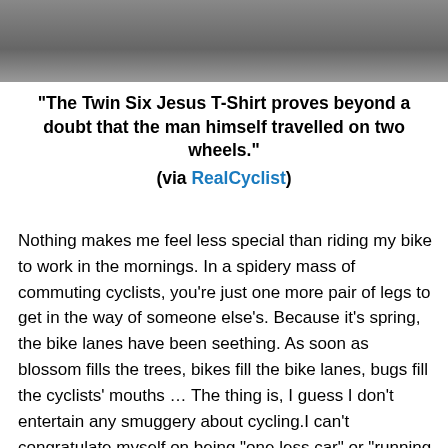[Figure (photo): Partial photo strip at top of page, dark grey tones]
“The Twin Six Jesus T-Shirt proves beyond a doubt that the man himself travelled on two wheels.” (via RealCyclist)
Nothing makes me feel less special than riding my bike to work in the mornings. In a spidery mass of commuting cyclists, you’re just one more pair of legs to get in the way of someone else’s. Because it’s spring, the bike lanes have been seething. As soon as blossom fills the trees, bikes fill the bike lanes, bugs fill the cyclists’ mouths … The thing is, I guess I don’t entertain any smuggery about cycling.I can’t congratulate myself on being “one less car” or “running on fat, not money”. And I can’t whole-heartedly believe, as the cycle activism group Zero Per Gallon argues, that cycling is like: